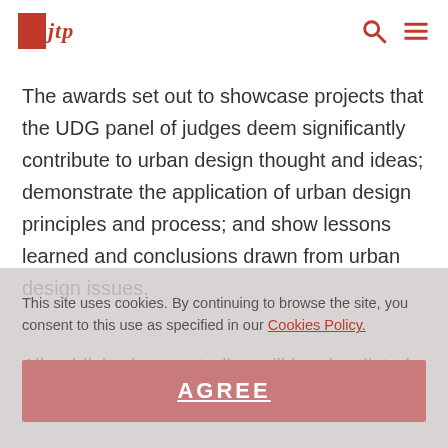jtp
The awards set out to showcase projects that the UDG panel of judges deem significantly contribute to urban design thought and ideas; demonstrate the application of urban design principles and process; and show lessons learned and conclusions drawn from urban design issues.
This site uses cookies. By continuing to browse the site, you consent to this use as specified in our Cookies Policy.
All published case studies will be shortlisted for the Francis Tibbalds Prize.
AGREE